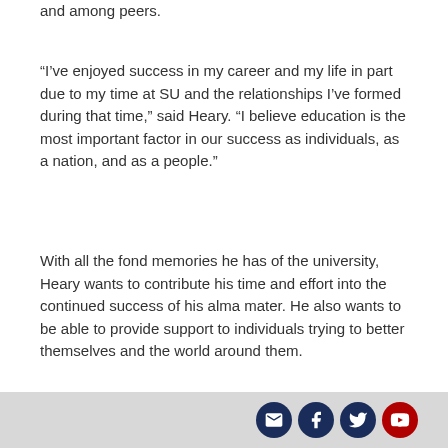and among peers.
“I’ve enjoyed success in my career and my life in part due to my time at SU and the relationships I’ve formed during that time,” said Heary. “I believe education is the most important factor in our success as individuals, as a nation, and as a people.”
With all the fond memories he has of the university, Heary wants to contribute his time and effort into the continued success of his alma mater. He also wants to be able to provide support to individuals trying to better themselves and the world around them.
Social media icons: email, facebook, twitter, youtube